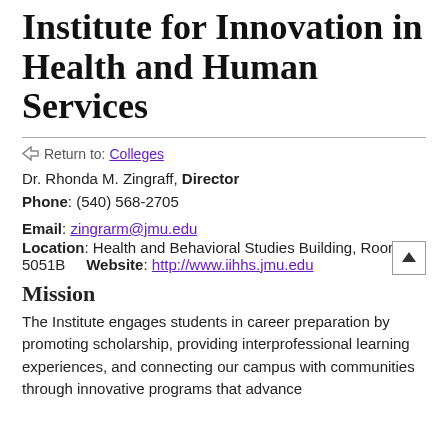Institute for Innovation in Health and Human Services
← Return to: Colleges
Dr. Rhonda M. Zingraff, Director
Phone: (540) 568-2705
Email: zingrarm@jmu.edu
Location: Health and Behavioral Studies Building, Room 5051B   Website: http://www.iihhs.jmu.edu
Mission
The Institute engages students in career preparation by promoting scholarship, providing interprofessional learning experiences, and connecting our campus with communities through innovative programs that advance